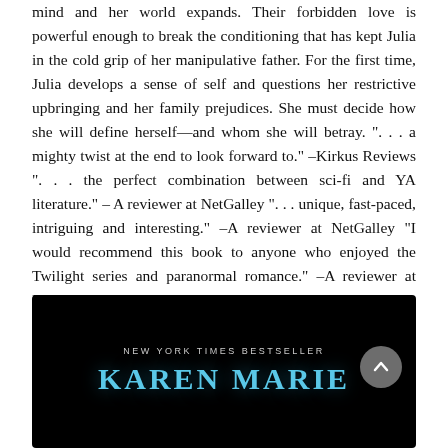mind and her world expands. Their forbidden love is powerful enough to break the conditioning that has kept Julia in the cold grip of her manipulative father. For the first time, Julia develops a sense of self and questions her restrictive upbringing and her family prejudices. She must decide how she will define herself—and whom she will betray. ". . . a mighty twist at the end to look forward to." –Kirkus Reviews ". . . the perfect combination between sci-fi and YA literature." – A reviewer at NetGalley ". . . unique, fast-paced, intriguing and interesting." –A reviewer at NetGalley "I would recommend this book to anyone who enjoyed the Twilight series and paranormal romance." –A reviewer at NetGalley "Brilliant plot." –A reviewer at NetGalley
[Figure (illustration): Black background book cover image showing 'NEW YORK TIMES BESTSELLER' in small caps at top, followed by author name 'KAREN MARIE' in large blue letters]